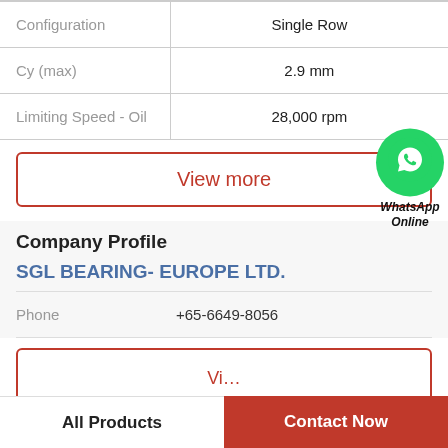| Property | Value |
| --- | --- |
| Configuration | Single Row |
| Cy (max) | 2.9 mm |
| Limiting Speed - Oil | 28,000 rpm |
View more
[Figure (logo): WhatsApp green circle icon with phone handset, labeled WhatsApp Online]
Company Profile
SGL BEARING- EUROPE LTD.
Phone  +65-6649-8056
View more (partial)
All Products    Contact Now